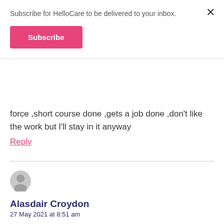Subscribe for HelloCare to be delivered to your inbox.
Subscribe
force ,short course done ,gets a job done ,don’t like the work but I’ll stay in it anyway
Reply
Alasdair Croydon
27 May 2021 at 8:51 am
Our organisation has facilities in the Sydney metropolitan area. Already we have experienced difficulties in employing sufficient staff to meet our